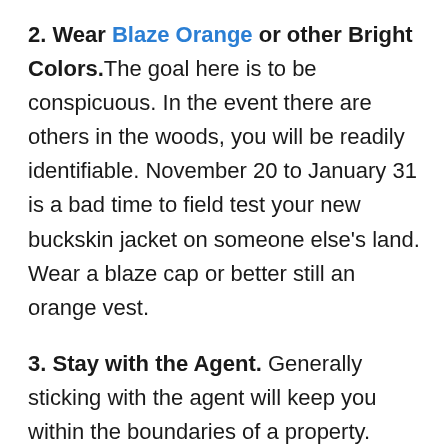2. Wear Blaze Orange or other Bright Colors. The goal here is to be conspicuous. In the event there are others in the woods, you will be readily identifiable. November 20 to January 31 is a bad time to field test your new buckskin jacket on someone else's land. Wear a blaze cap or better still an orange vest.
3. Stay with the Agent. Generally sticking with the agent will keep you within the boundaries of a property. Hunters may be using adjoining lands, so hanging close to your guide is a good idea. I don't do much exploring of new ground during this time of year.
4. Keep it between 10 and 2. Your driver's ed teacher hammered this home in highschool, so apply that same lesson to previewing hunting properties and timber tracts